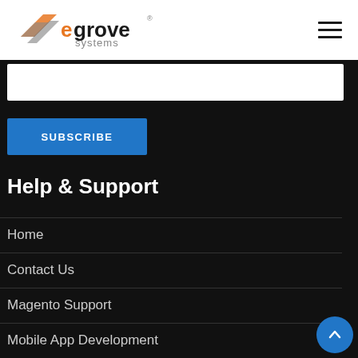[Figure (logo): eGrove Systems logo with orange and grey graphic and orange/black text]
[Figure (other): Hamburger menu icon (three horizontal lines)]
[Figure (other): White input field / subscribe form text box]
SUBSCRIBE
Help & Support
Home
Contact Us
Magento Support
Mobile App Development
[Figure (other): Blue circular back-to-top button with upward chevron arrow]